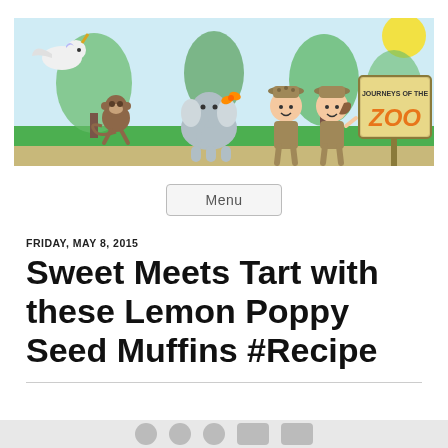[Figure (illustration): Journeys of the Zoo blog banner featuring cartoon zoo animals (monkey, elephant, flying unicorn horse) and two children in safari outfits with a zoo sign reading 'Journeys of the ZOO']
Menu
FRIDAY, MAY 8, 2015
Sweet Meets Tart with these Lemon Poppy Seed Muffins #Recipe
[Figure (other): Bottom partial bar with social sharing icons partially visible]